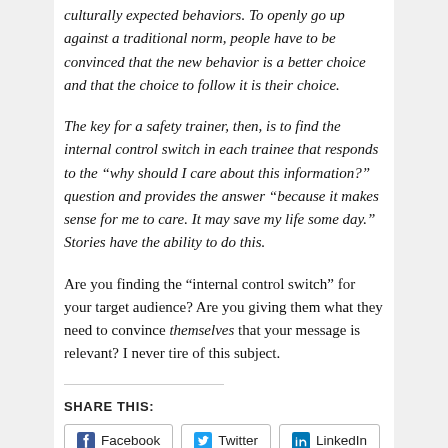culturally expected behaviors. To openly go up against a traditional norm, people have to be convinced that the new behavior is a better choice and that the choice to follow it is their choice.
The key for a safety trainer, then, is to find the internal control switch in each trainee that responds to the “why should I care about this information?” question and provides the answer “because it makes sense for me to care. It may save my life some day.” Stories have the ability to do this.
Are you finding the “internal control switch” for your target audience? Are you giving them what they need to convince themselves that your message is relevant? I never tire of this subject.
SHARE THIS: